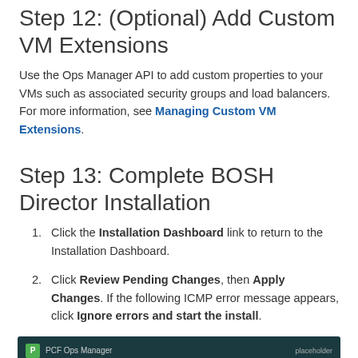Step 12: (Optional) Add Custom VM Extensions
Use the Ops Manager API to add custom properties to your VMs such as associated security groups and load balancers. For more information, see Managing Custom VM Extensions.
Step 13: Complete BOSH Director Installation
Click the Installation Dashboard link to return to the Installation Dashboard.
Click Review Pending Changes, then Apply Changes. If the following ICMP error message appears, click Ignore errors and start the install.
[Figure (screenshot): PCF Ops Manager UI screenshot showing the dark top navigation bar with a green P logo, 'PCF Ops Manager' label, and a red error bar below.]